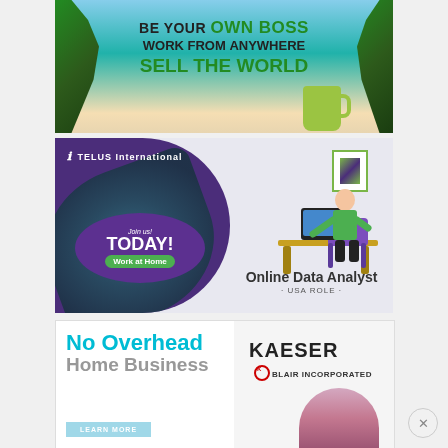[Figure (illustration): Advertisement banner: beach scene with palm trees, ocean background, green mug. Text reads 'BE YOUR OWN BOSS WORK FROM ANYWHERE SELL THE WORLD']
[Figure (illustration): TELUS International advertisement: purple left panel with tropical leaves and 'Join us! TODAY! Work at Home' text in oval badge. Right panel shows person at desk working on computer. Text: 'Online Data Analyst · USA ROLE ·']
[Figure (illustration): Kaeser Blair Incorporated advertisement split panel: left side cyan text 'No Overhead Home Business' with light blue 'LEARN MORE' button, right side shows Kaeser Blair logo and person image]